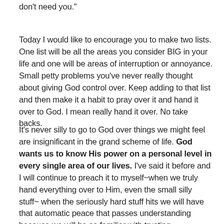don't need you."
Today I would like to encourage you to make two lists. One list will be all the areas you consider BIG in your life and one will be areas of interruption or annoyance. Small petty problems you've never really thought about giving God control over. Keep adding to that list and then make it a habit to pray over it and hand it over to God. I mean really hand it over. No take backs.
It's never silly to go to God over things we might feel are insignificant in the grand scheme of life. God wants us to know His power on a personal level in every single area of our lives. I've said it before and I will continue to preach it to myself~when we truly hand everything over to Him, even the small silly stuff~ when the seriously hard stuff hits we will have that automatic peace that passes understanding because we will be so familiar with trusting